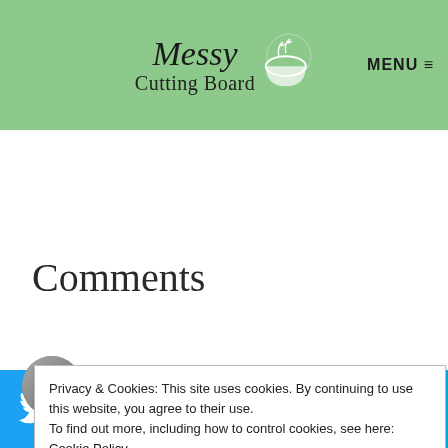Messy Cutting Board — MENU
Comments
Privacy & Cookies: This site uses cookies. By continuing to use this website, you agree to their use.
To find out more, including how to control cookies, see here: Cookie Policy